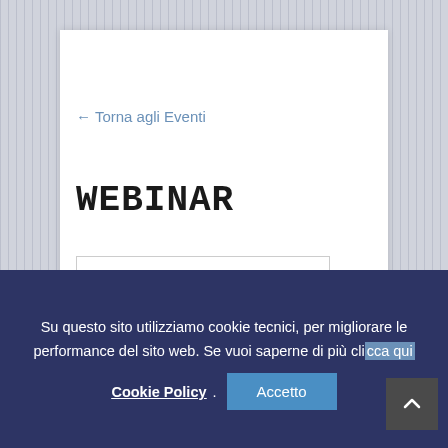← Torna agli Eventi
WEBINAR
[Figure (other): Empty content placeholder box with border]
Su questo sito utilizziamo cookie tecnici, per migliorare le performance del sito web. Se vuoi saperne di più clicca qui
Cookie Policy. Accetto